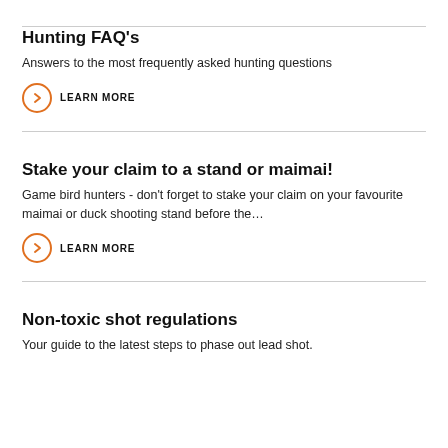Hunting FAQ's
Answers to the most frequently asked hunting questions
LEARN MORE
Stake your claim to a stand or maimai!
Game bird hunters - don't forget to stake your claim on your favourite maimai or duck shooting stand before the…
LEARN MORE
Non-toxic shot regulations
Your guide to the latest steps to phase out lead shot.